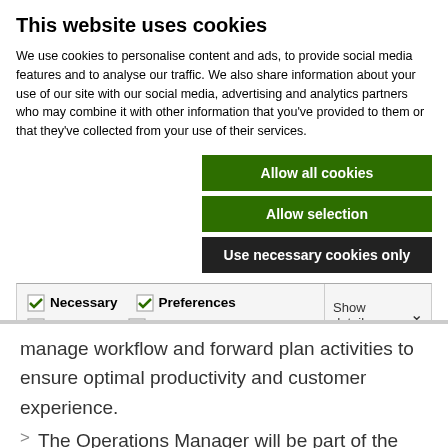This website uses cookies
We use cookies to personalise content and ads, to provide social media features and to analyse our traffic. We also share information about your use of our site with our social media, advertising and analytics partners who may combine it with other information that you've provided to them or that they've collected from your use of their services.
Allow all cookies
Allow selection
Use necessary cookies only
| Necessary | Preferences | Statistics | Show details |
| Marketing |  |  |  |
manage workflow and forward plan activities to ensure optimal productivity and customer experience.
The Operations Manager will be part of the Business Operations department helping to drive the business forward